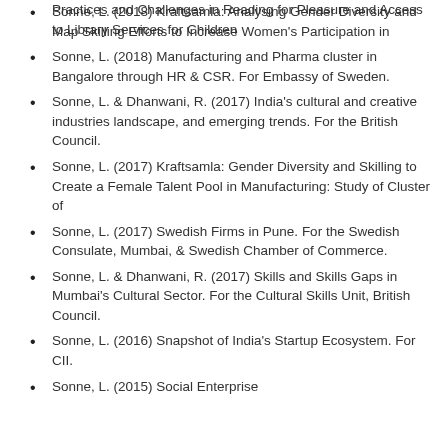Practices and Challenges in Reading for Pleasure and Access to Library Services for Children
Sonne, L. (2018) Kraftsamla: Analysing Gender Diversity and Map Skilling Efforts to Increase Women's Participation in
Sonne, L. (2018) Manufacturing and Pharma cluster in Bangalore through HR & CSR. For Embassy of Sweden.
Sonne, L.  & Dhanwani, R.  (2017) India's cultural and creative industries landscape, and emerging trends. For the British Council.
Sonne, L. (2017) Kraftsamla: Gender Diversity and Skilling to Create a Female Talent Pool in Manufacturing: Study of Cluster of
Sonne, L. (2017) Swedish Firms in Pune. For the Swedish Consulate, Mumbai, & Swedish Chamber of Commerce.
Sonne, L.  & Dhanwani, R. (2017) Skills and Skills Gaps in Mumbai's Cultural Sector. For the Cultural Skills Unit, British Council.
Sonne, L. (2016) Snapshot of India's Startup Ecosystem. For CII.
Sonne, L. (2015) Social Enterprise